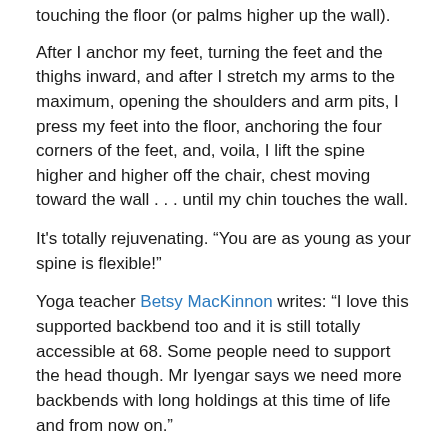touching the floor (or palms higher up the wall).
After I anchor my feet, turning the feet and the thighs inward, and after I stretch my arms to the maximum, opening the shoulders and arm pits, I press my feet into the floor, anchoring the four corners of the feet, and, voila, I lift the spine higher and higher off the chair, chest moving toward the wall . . . until my chin touches the wall.
It's totally rejuvenating. “You are as young as your spine is flexible!”
Yoga teacher Betsy MacKinnon writes: “I love this supported backbend too and it is still totally accessible at 68. Some people need to support the head though. Mr Iyengar says we need more backbends with long holdings at this time of life and from now on.”